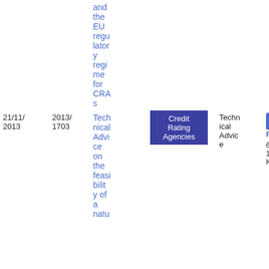| Date | Ref | Title | Tag | Type | File |
| --- | --- | --- | --- | --- | --- |
|  |  | and the EU regulatory regime for CRAs |  |  |  |
| 21/11/2013 | 2013/1703 | Technical Advice on the feasibility of a ... | Credit Rating Agencies | Technical Advice | PDF 60 1.05 KB |